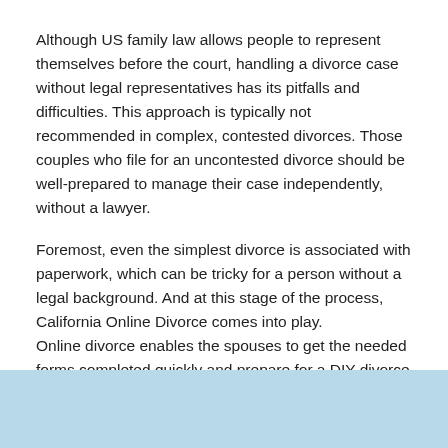Although US family law allows people to represent themselves before the court, handling a divorce case without legal representatives has its pitfalls and difficulties. This approach is typically not recommended in complex, contested divorces. Those couples who file for an uncontested divorce should be well-prepared to manage their case independently, without a lawyer.
Foremost, even the simplest divorce is associated with paperwork, which can be tricky for a person without a legal background. And at this stage of the process, California Online Divorce comes into play.
Online divorce enables the spouses to get the needed forms completed quickly and prepare for a DIY divorce in Placer County without undue stress and costs.